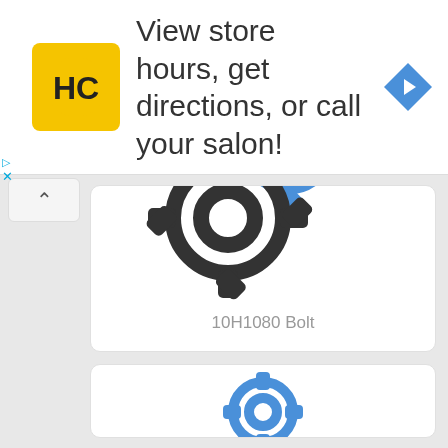[Figure (screenshot): Advertisement banner with HC (Haircuttery) logo on yellow background, text 'View store hours, get directions, or call your salon!', and a blue diamond navigation arrow icon on the right.]
[Figure (illustration): Two interlocking gear icons — one black outline gear (large, foreground) and one blue outline gear (smaller, background/upper right), representing settings or parts/components.]
10H1080 Bolt
[Figure (illustration): Partial view of another product card with a blue gear icon visible at the bottom of the page.]